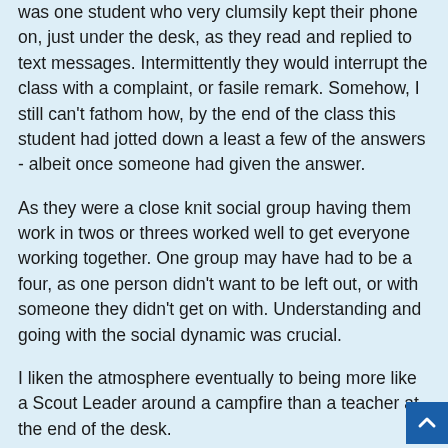was one student who very clumsily kept their phone on, just under the desk, as they read and replied to text messages. Intermittently they would interrupt the class with a complaint, or fasile remark. Somehow, I still can't fathom how, by the end of the class this student had jotted down a least a few of the answers - albeit once someone had given the answer.
As they were a close knit social group having them work in twos or threes worked well to get everyone working together. One group may have had to be a four, as one person didn't want to be left out, or with someone they didn't get on with. Understanding and going with the social dynamic was crucial.
I liken the atmosphere eventually to being more like a Scout Leader around a campfire than a teacher at the end of the desk.
Far from seeing how digital could contribute here > we had a 3D human body with 3D goggles in mind I rather thought a real 3D model made in Props by the Theatre Students would have the most impact. A giant finger like a large log in the middle of this virtual fire in the centre of the class.  Of course, medical students do get the real thing. That must be impactful.